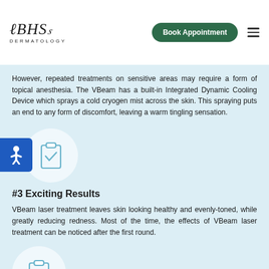BHS Dermatology — Book Appointment
However, repeated treatments on sensitive areas may require a form of topical anesthesia. The VBeam has a built-in Integrated Dynamic Cooling Device which sprays a cold cryogen mist across the skin. This spraying puts an end to any form of discomfort, leaving a warm tingling sensation.
[Figure (illustration): A circular icon on a light blue background showing a clipboard with a checkmark, representing a checklist or completion. A blue accessibility/person icon appears on the left side.]
#3 Exciting Results
VBeam laser treatment leaves skin looking healthy and evenly-toned, while greatly reducing redness. Most of the time, the effects of VBeam laser treatment can be noticed after the first round.
[Figure (illustration): A circular icon on a light blue background showing a clipboard with a checkmark, representing a checklist or completion.]